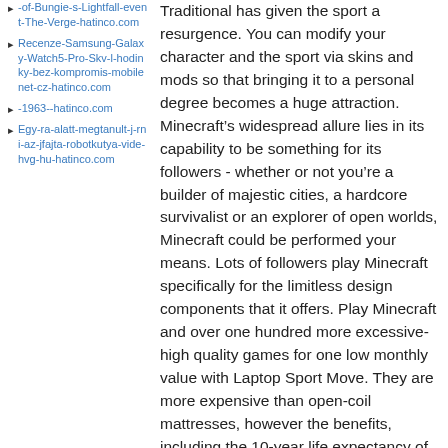-of-Bungie-s-Lightfall-event-The-Verge-hatinco.com
Recenze-Samsung-Galaxy-Watch5-Pro-Skv-l-hodinky-bez-kompromis-mobilenet-cz-hatinco.com
-1963--hatinco.com
Egy-ra-alatt-megtanult-j-rni-az-jfajta-robotkutya-vide-hvg-hu-hatinco.com
Traditional has given the sport a resurgence. You can modify your character and the sport via skins and mods so that bringing it to a personal degree becomes a huge attraction. Minecraft’s widespread allure lies in its capability to be something for its followers - whether or not you’re a builder of majestic cities, a hardcore survivalist or an explorer of open worlds, Minecraft could be performed your means. Lots of followers play Minecraft specifically for the limitless design components that it offers. Play Minecraft and over one hundred more excessive-high quality games for one low monthly value with Laptop Sport Move. They are more expensive than open-coil mattresses, however the benefits, including the 10-year life expectancy of one of these mattress, usually can offset this. Because of this there are only 32 blocks you can construct with, and all the unique bugs are in there! Develop your personal digital world utilizing constructing blocks. Independent sport that